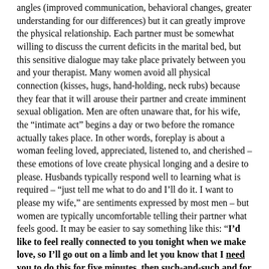angles (improved communication, behavioral changes, greater understanding for our differences) but it can greatly improve the physical relationship. Each partner must be somewhat willing to discuss the current deficits in the marital bed, but this sensitive dialogue may take place privately between you and your therapist. Many women avoid all physical connection (kisses, hugs, hand-holding, neck rubs) because they fear that it will arouse their partner and create imminent sexual obligation. Men are often unaware that, for his wife, the “intimate act” begins a day or two before the romance actually takes place. In other words, foreplay is about a woman feeling loved, appreciated, listened to, and cherished – these emotions of love create physical longing and a desire to please. Husbands typically respond well to learning what is required – “just tell me what to do and I’ll do it. I want to please my wife,” are sentiments expressed by most men – but women are typically uncomfortable telling their partner what feels good. It may be easier to say something like this: “I’d like to feel really connected to you tonight when we make love, so I’ll go out on a limb and let you know that I need you to do this for five minutes, then such-and-such and for five minutes. I’d like to make this a special experience.” This wording will have a powerful impact and your partner will be thrilled and excited already! Remember,